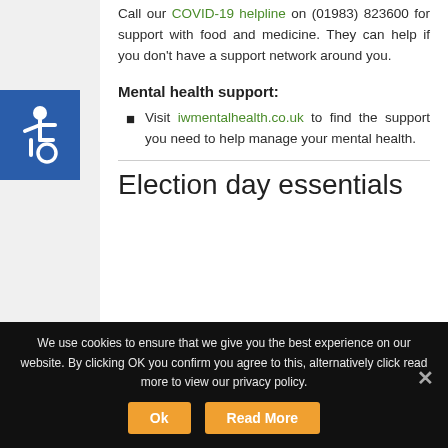Call our COVID-19 helpline on (01983) 823600 for support with food and medicine. They can help if you don't have a support network around you.
Mental health support:
Visit iwmentalhealth.co.uk to find the support you need to help manage your mental health.
Election day essentials
We use cookies to ensure that we give you the best experience on our website. By clicking OK you confirm you agree to this, alternatively click read more to view our privacy policy.